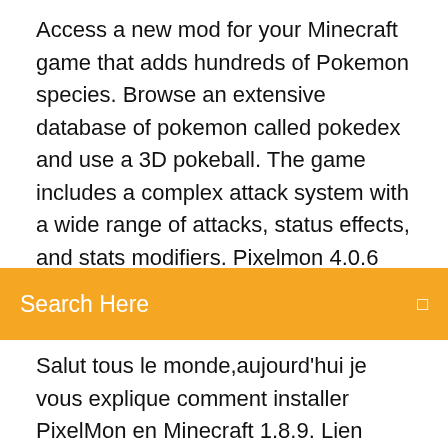Access a new mod for your Minecraft game that adds hundreds of Pokemon species. Browse an extensive database of pokemon called pokedex and use a 3D pokeball. The game includes a complex attack system with a wide range of attacks, status effects, and stats modifiers. Pixelmon 4.0.6 est disponible gratuitement au téléchargement dans notre ...
Search Here
Salut tous le monde,aujourd'hui je vous explique comment installer PixelMon en Minecraft 1.8.9. Lien pour télécharger le Mod et Forge : http://pixelmonmod.co... PIXELMON : Comment installer | Minecraft 1.7.2 - YouTube Hide and Seek Song | Wendy Pretend Play Sing-Along Nursery Rhymes & Kids Songs - Duration: 2:01. Toys and Colors 5,631,537 views TUTO/ Comment installer le mod pixelmon? - YouTube Yo tout le monde, on se retrouve aujourd'hui pour un nouveau tuto dans lequel je vous apprends à installer le mode pixelmon, j'espère